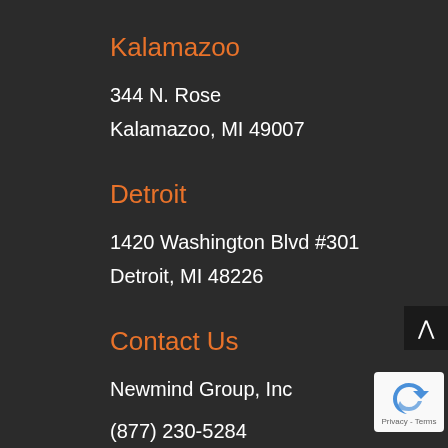Kalamazoo
344 N. Rose
Kalamazoo, MI 49007
Detroit
1420 Washington Blvd #301
Detroit, MI 48226
Contact Us
Newmind Group, Inc
(877) 230-5284
info@newmindgroup.com